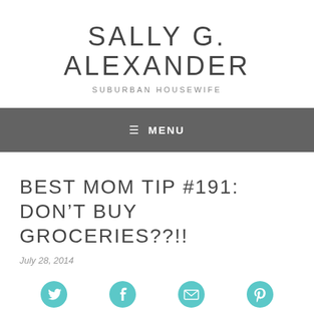SALLY G. ALEXANDER
SUBURBAN HOUSEWIFE
≡ MENU
BEST MOM TIP #191: DON'T BUY GROCERIES??!!
July 28, 2014
[Figure (infographic): Social sharing icons: Twitter bird, Facebook f, envelope/email, Pinterest p — all in teal/cyan color]